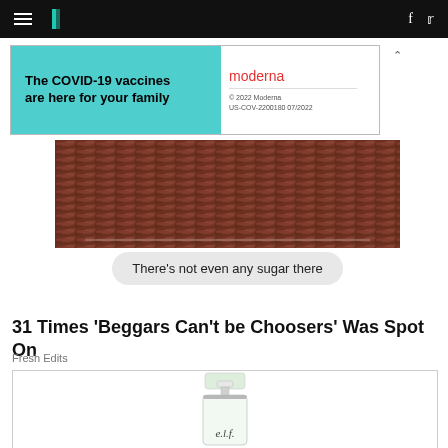HuffPost navigation with hamburger menu, logo, facebook and twitter icons
[Figure (photo): Advertisement banner: 'The COVID-19 vaccines are here for your family' on teal background, with Moderna logo and fine print on white right panel. Dismiss caret to the right.]
[Figure (screenshot): Screenshot showing reddish-brown mulch or seeds background at top, with a chat bubble below reading 'There's not even any sugar there']
31 Times 'Beggars Can't be Choosers' Was Spot On
Fresh Edits
[Figure (photo): Product photo of an e.l.f. cosmetics bottle/serum with pump dispenser on white background, partially cropped at bottom of page]